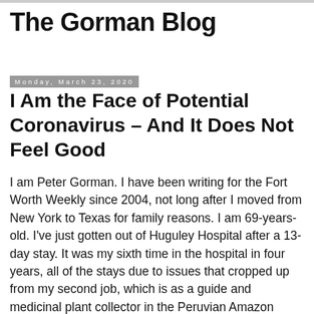The Gorman Blog
Monday, March 23, 2020
I Am the Face of Potential Coronavirus – And It Does Not Feel Good
I am Peter Gorman. I have been writing for the Fort Worth Weekly since 2004, not long after I moved from New York to Texas for family reasons. I am 69-years-old. I've just gotten out of Huguley Hospital after a 13-day stay. It was my sixth time in the hospital in four years, all of the stays due to issues that cropped up from my second job, which is as a guide and medicinal plant collector in the Peruvian Amazon jungle. Those recent stays include time for dealing with a flea, an time in that took the...